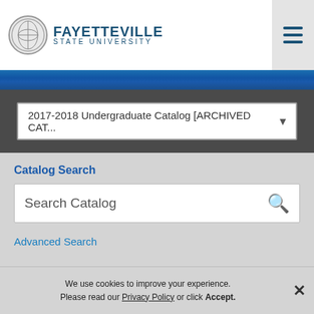[Figure (logo): Fayetteville State University logo with circular emblem and university name text]
2017-2018 Undergraduate Catalog [ARCHIVED CAT...
Catalog Search
Search Catalog
Advanced Search
Catalog Navigation
We use cookies to improve your experience. Please read our Privacy Policy or click Accept.